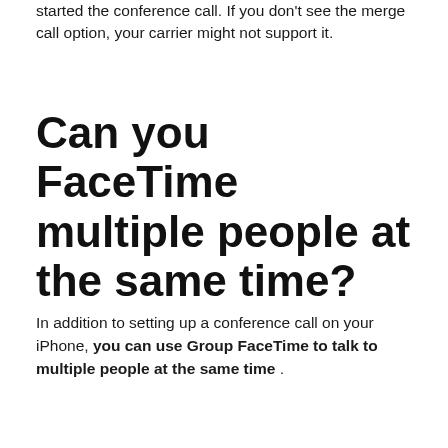started the conference call. If you don't see the merge call option, your carrier might not support it.
Can you FaceTime multiple people at the same time?
In addition to setting up a conference call on your iPhone, you can use Group FaceTime to talk to multiple people at the same time .